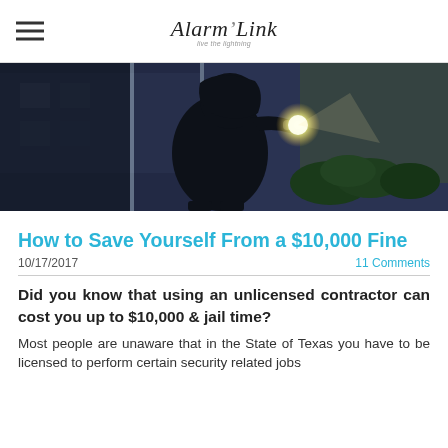Alarm Link
[Figure (photo): A burglar wearing a dark hoodie holding a flashlight, peering through a glass door or window at night, with bushes visible in the background]
How to Save Yourself From a $10,000 Fine
10/17/2017   11 Comments
Did you know that using an unlicensed contractor can cost you up to $10,000 & jail time?
Most people are unaware that in the State of Texas you have to be licensed to perform certain security related jobs